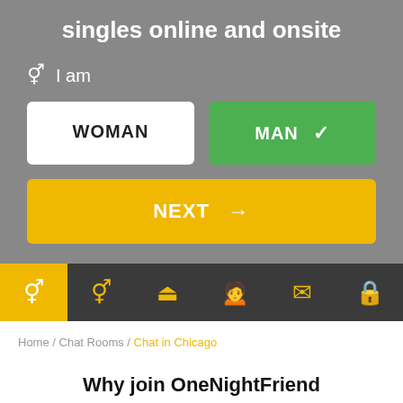singles online and onsite
I am
[Figure (screenshot): Two buttons: WOMAN (white) and MAN (green with checkmark), indicating gender selection]
[Figure (screenshot): NEXT button in yellow/golden color with right arrow]
[Figure (screenshot): Navigation bar with 6 icons: gender (active, yellow background), couples, chat/message, profile, envelope, lock]
Home / Chat Rooms / Chat in Chicago
Why join OneNightFriend